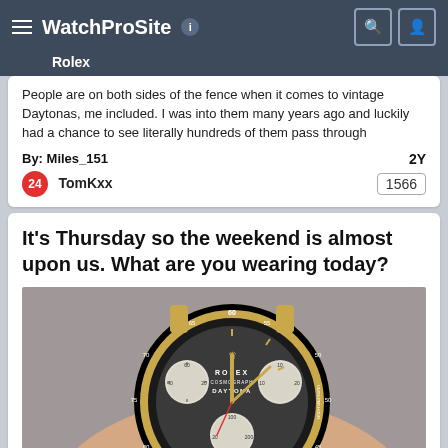WatchProSite  Rolex
People are on both sides of the fence when it comes to vintage Daytonas, me included. I was into them many years ago and luckily had a chance to see literally hundreds of them pass through
By: Miles_151   2Y
24  TomKxx   1566
It's Thursday so the weekend is almost upon us. What are you wearing today?
[Figure (photo): Close-up photo of a vintage Rolex Daytona chronograph watch on a wrist, gold case with black bezel, dark grey dial with subdials]